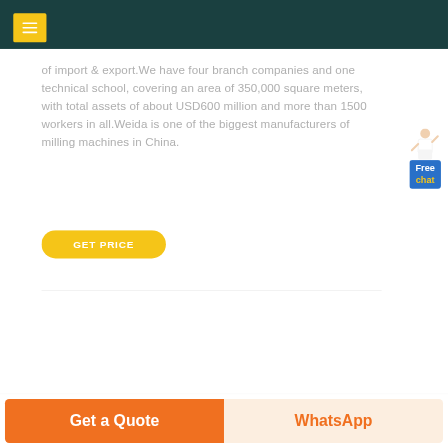of import & export.We have four branch companies and one technical school, covering an area of 350,000 square meters, with total assets of about USD600 million and more than 1500 workers in all.Weida is one of the biggest manufacturers of milling machines in China.
GET PRICE
Free chat
Get a Quote   WhatsApp